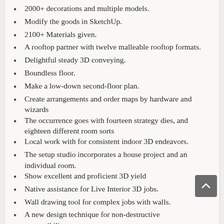2000+ decorations and multiple models.
Modify the goods in SketchUp.
2100+ Materials given.
A rooftop partner with twelve malleable rooftop formats.
Delightful steady 3D conveying.
Boundless floor.
Make a low-down second-floor plan.
Create arrangements and order maps by hardware and wizards
The occurrence goes with fourteen strategy dies, and eighteen different room sorts
Local work with for consistent indoor 3D endeavors.
The setup studio incorporates a house project and an individual room.
Show excellent and proficient 3D yield
Native assistance for Live Interior 3D jobs.
Wall drawing tool for complex jobs with walls.
A new design technique for non-destructive compatibility
Amount of data slider in Form & Representation.